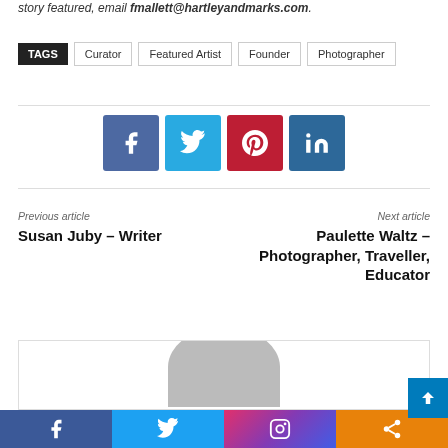story featured, email fmallett@hartleyandmarks.com.
TAGS: Curator, Featured Artist, Founder, Photographer
[Figure (infographic): Social share buttons for Facebook, Twitter, Pinterest, LinkedIn]
Previous article
Susan Juby – Writer
Next article
Paulette Waltz – Photographer, Traveller, Educator
[Figure (photo): Author avatar placeholder in a bordered box]
[Figure (infographic): Bottom navigation bar with Facebook, Twitter, Instagram, and Share icons]